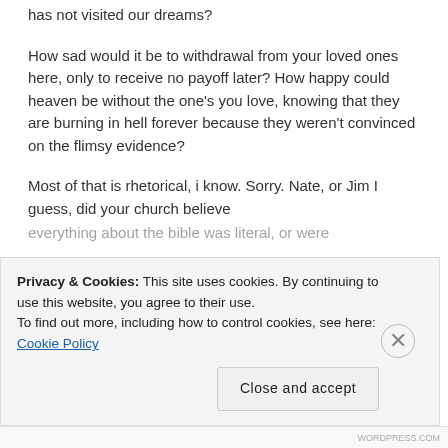has not visited our dreams?
How sad would it be to withdrawal from your loved ones here, only to receive no payoff later? How happy could heaven be without the one's you love, knowing that they are burning in hell forever because they weren't convinced on the flimsy evidence?
Most of that is rhetorical, i know. Sorry. Nate, or Jim I guess, did your church believe everything about the bible was literal, or were
Privacy & Cookies: This site uses cookies. By continuing to use this website, you agree to their use.
To find out more, including how to control cookies, see here: Cookie Policy
Close and accept
WORDPRESS.COM